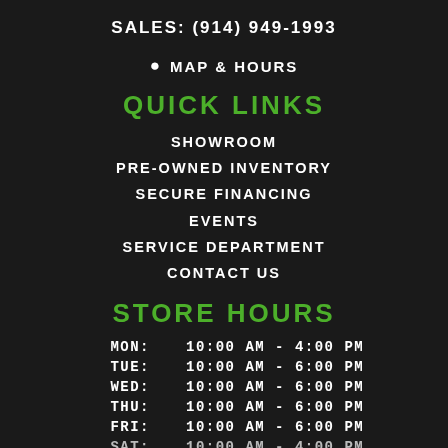SALES: (914) 949-1993
MAP & HOURS
QUICK LINKS
SHOWROOM
PRE-OWNED INVENTORY
SECURE FINANCING
EVENTS
SERVICE DEPARTMENT
CONTACT US
STORE HOURS
| DAY | HOURS |
| --- | --- |
| MON: | 10:00 AM - 4:00 PM |
| TUE: | 10:00 AM - 6:00 PM |
| WED: | 10:00 AM - 6:00 PM |
| THU: | 10:00 AM - 6:00 PM |
| FRI: | 10:00 AM - 6:00 PM |
| SAT: | 10:00 AM - 4:00 PM |